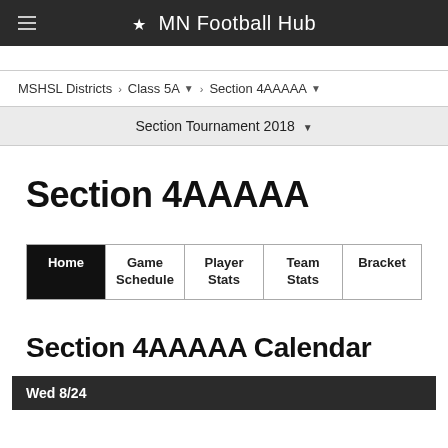★ MN Football Hub
MSHSL Districts > Class 5A > Section 4AAAAA
Section Tournament 2018
Section 4AAAAA
Home | Game Schedule | Player Stats | Team Stats | Bracket
Section 4AAAAA Calendar
Wed 8/24